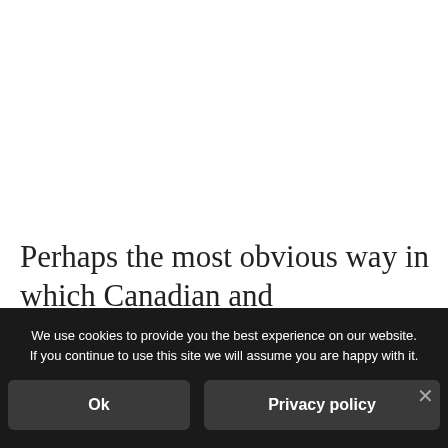Perhaps the most obvious way in which Canadian and Metropolitan French differ is in vocabulary
We use cookies to provide you the best experience on our website. If you continue to use this site we will assume you are happy with it.
Ok
Privacy policy